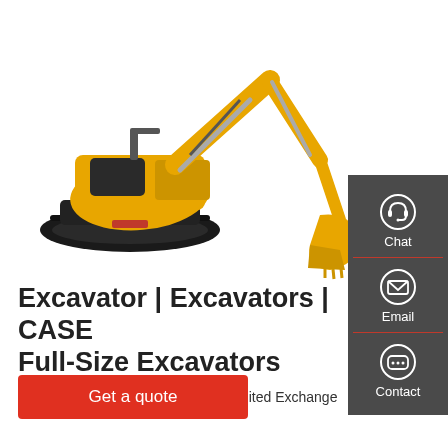[Figure (photo): Yellow CASE mini excavator with black tracks, extended arm and bucket, on white background]
Excavator | Excavators | CASE Full-Size Excavators
Case Excavator 1080 B $20'000 - United Exchange USA
Get a quote